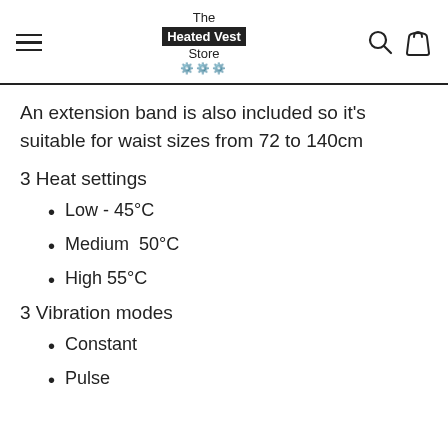The Heated Vest Store
An extension band is also included so it's suitable for waist sizes from 72 to 140cm
3 Heat settings
Low - 45°C
Medium  50°C
High 55°C
3 Vibration modes
Constant
Pulse